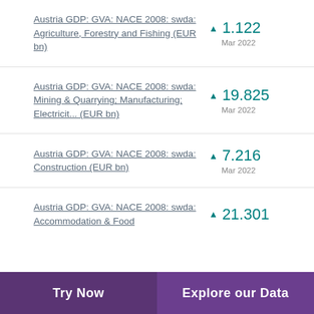Austria GDP: GVA: NACE 2008: swda: Agriculture, Forestry and Fishing (EUR bn) ▲ 1.122 Mar 2022
Austria GDP: GVA: NACE 2008: swda: Mining & Quarrying; Manufacturing; Electricit... (EUR bn) ▲ 19.825 Mar 2022
Austria GDP: GVA: NACE 2008: swda: Construction (EUR bn) ▲ 7.216 Mar 2022
Austria GDP: GVA: NACE 2008: swda: Accommodation & Food ▲ 21.301
Try Now | Explore our Data